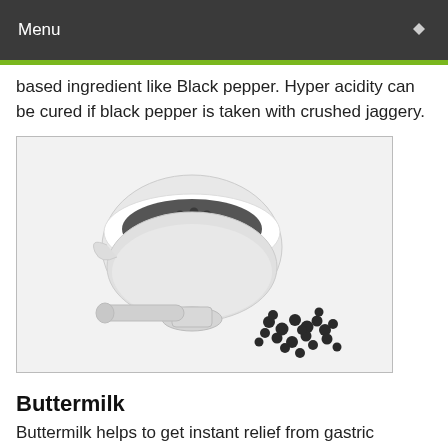Menu
based ingredient like Black pepper. Hyper acidity can be cured if black pepper is taken with crushed jaggery.
[Figure (photo): A white ceramic mortar bowl filled with black peppercorns, with several peppercorns scattered on a white surface beside it.]
Buttermilk
Buttermilk helps to get instant relief from gastric acid...